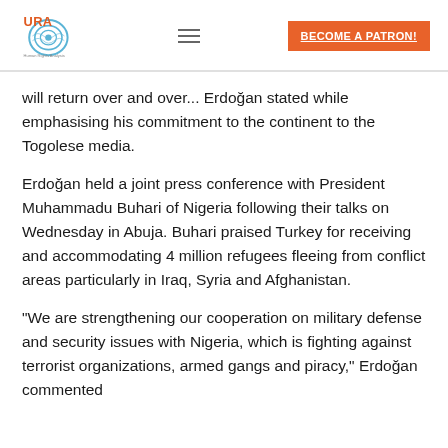URA — BECOME A PATRON!
will return over and over... Erdoğan stated while emphasising his commitment to the continent to the Togolese media.
Erdoğan held a joint press conference with President Muhammadu Buhari of Nigeria following their talks on Wednesday in Abuja. Buhari praised Turkey for receiving and accommodating 4 million refugees fleeing from conflict areas particularly in Iraq, Syria and Afghanistan.
“We are strengthening our cooperation on military defense and security issues with Nigeria, which is fighting against terrorist organizations, armed gangs and piracy,” Erdoğan commented